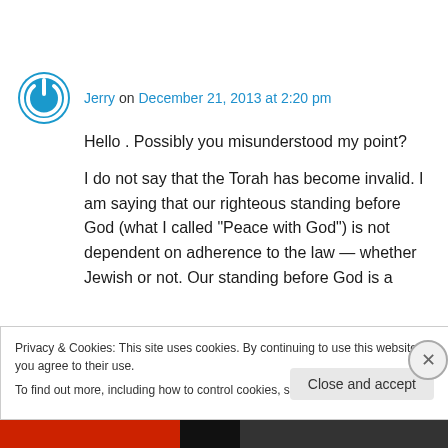Jerry on December 21, 2013 at 2:20 pm
Hello . Possibly you misunderstood my point?
I do not say that the Torah has become invalid. I am saying that our righteous standing before God (what I called “Peace with God”) is not dependent on adherence to the law — whether Jewish or not. Our standing before God is a
Privacy & Cookies: This site uses cookies. By continuing to use this website, you agree to their use.
To find out more, including how to control cookies, see here: Cookie Policy
Close and accept